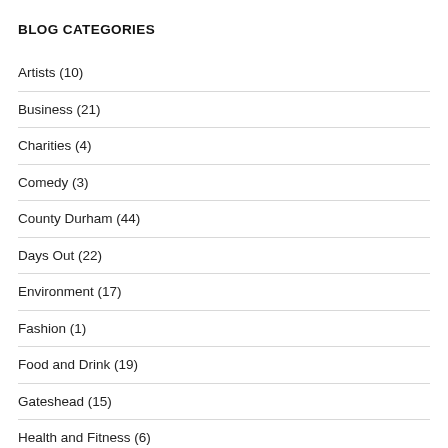BLOG CATEGORIES
Artists (10)
Business (21)
Charities (4)
Comedy (3)
County Durham (44)
Days Out (22)
Environment (17)
Fashion (1)
Food and Drink (19)
Gateshead (15)
Health and Fitness (6)